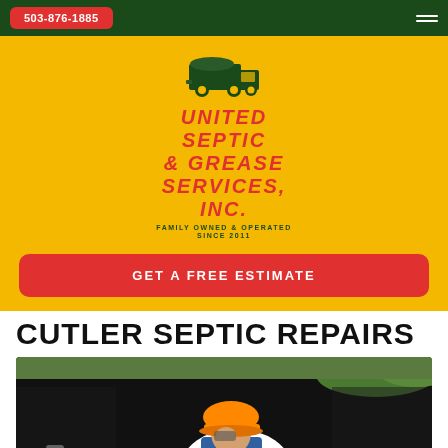503-876-1885
[Figure (logo): United Septic & Grease Services, Inc. logo with truck icon. Family Owned & Operated Since 2011.]
GET A FREE ESTIMATE
CUTLER SEPTIC REPAIRS
[Figure (photo): Worker wearing orange hard hat and blue overalls working on a septic system, leaning over a dark pit with a pipe visible.]